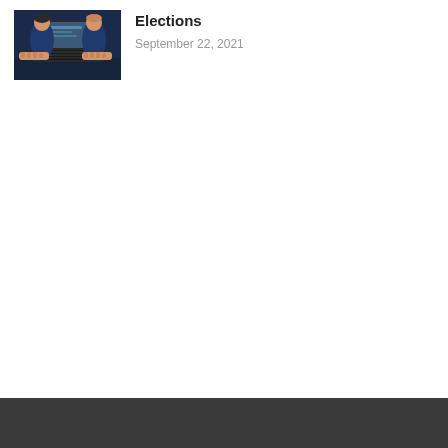[Figure (illustration): Illustration of two people working at a laptop computer, with a dark blue background. Hands are visible typing on the keyboard.]
Elections
September 22, 2021